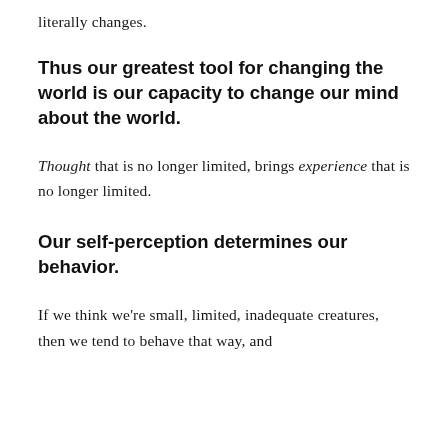literally changes.
Thus our greatest tool for changing the world is our capacity to change our mind about the world.
Thought that is no longer limited, brings experience that is no longer limited.
Our self-perception determines our behavior.
If we think we're small, limited, inadequate creatures, then we tend to behave that way, and